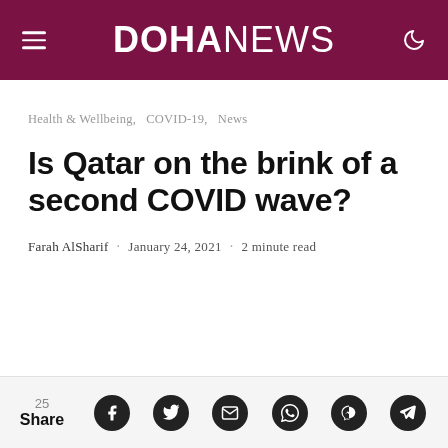DOHANEWS
Health & Wellbeing,  COVID-19,  News
Is Qatar on the brink of a second COVID wave?
Farah AlSharif · January 24, 2021 · 2 minute read
25 Share [social icons: Facebook, Twitter, Email, WhatsApp, Messenger, Telegram]